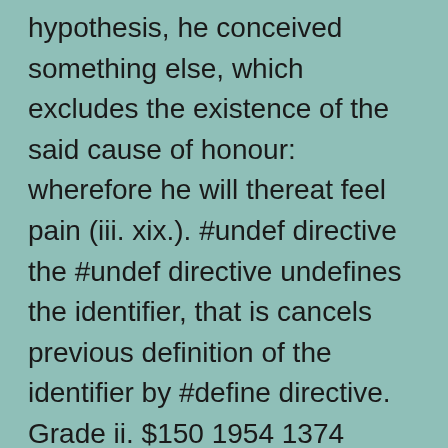hypothesis, he conceived something else, which excludes the existence of the said cause of honour: wherefore he will thereat feel pain (iii. xix.). #undef directive the #undef directive undefines the identifier, that is cancels previous definition of the identifier by #define directive. Grade ii. $150 1954 1374 british american squadron the kings colonials hat badge brass with lugs, grade ii-. Research, however, does present evidence showing that homosexuals and bisexuals are treated differently than heterosexuals in schools, the workplace, and the military. Harry's is selling the razors packaged in custom matchboxes for